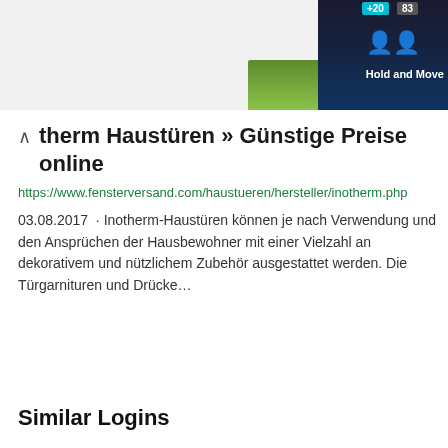[Figure (screenshot): Top banner area showing a dark game advertisement with 'Hold and Move' text and nature imagery, scores +20 and 83 shown]
therm Haustüren » Günstige Preise online
https://www.fensterversand.com/haustueren/hersteller/inotherm.php
03.08.2017  · Inotherm-Haustüren können je nach Verwendung und den Ansprüchen der Hausbewohner mit einer Vielzahl an dekorativem und nützlichem Zubehör ausgestattet werden. Die Türgarnituren und Drücke…
Similar Logins
Login Pec Telecom
Pixoto Sign Up